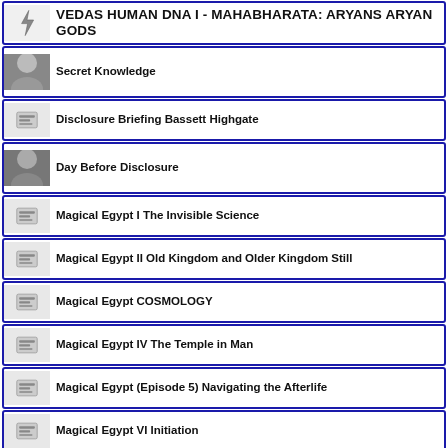VEDAS HUMAN DNA I - MAHABHARATA: ARYANS ARYAN GODS
Secret Knowledge
Disclosure Briefing Bassett Highgate
Day Before Disclosure
Magical Egypt I The Invisible Science
Magical Egypt II Old Kingdom and Older Kingdom Still
Magical Egypt COSMOLOGY
Magical Egypt IV The Temple in Man
Magical Egypt (Episode 5) Navigating the Afterlife
Magical Egypt VI Initiation
Magical Egypt VIII Cosmology
How to Prepare for an Out-of-Body Experience
The Joy of Knowing: The Electrifying Truth - by unASLEEP
THE EISENHOWER BRIEF: The US...